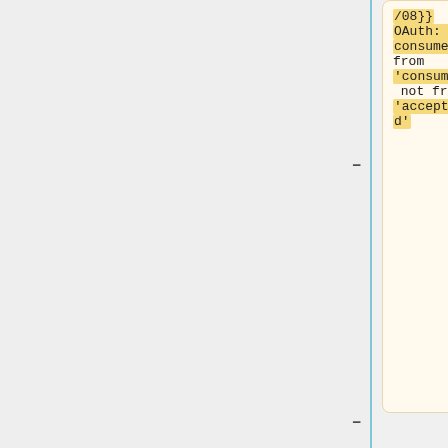/08}}
OAuth: Get consumerKey from 'consumerId' not from 'acceptanceId'
}}|
{{#invoke:Deployment schedule|row
|when=2020-03-23 10:00 SF
|length=0.5
|length=0.5